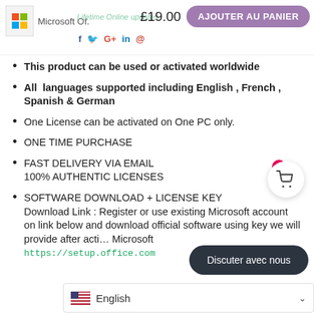Microsoft Of. · Lifetime Online updates. · £19.00 · AJOUTER AU PANIER
This product can be used or activated worldwide
All languages supported including English , French , Spanish & German
One License can be activated on One PC only.
ONE TIME PURCHASE
FAST DELIVERY VIA EMAIL 100% AUTHENTIC LICENSES
SOFTWARE DOWNLOAD + LICENSE KEY Download Link : Register or use existing Microsoft account on link below and download official software using key we will provide after acti… Microsoft https://setup.office.com